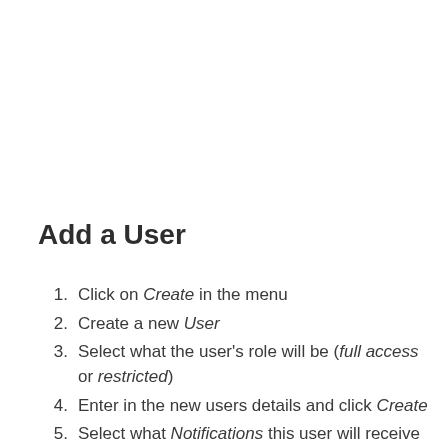Add a User
Click on Create in the menu
Create a new User
Select what the user's role will be (full access or restricted)
Enter in the new users details and click Create
Select what Notifications this user will receive